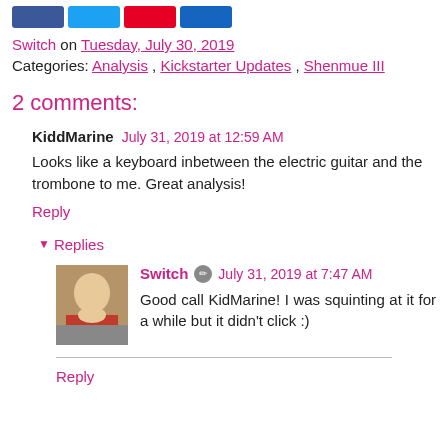[Figure (other): Social sharing buttons: Facebook, Twitter, Pinterest, Email]
Switch on Tuesday, July 30, 2019
Categories: Analysis , Kickstarter Updates , Shenmue III
2 comments:
KiddMarine  July 31, 2019 at 12:59 AM
Looks like a keyboard inbetween the electric guitar and the trombone to me. Great analysis!
Reply
▼ Replies
[Figure (photo): User avatar image of Switch]
Switch ✏ July 31, 2019 at 7:47 AM
Good call KidMarine! I was squinting at it for a while but it didn't click :)
Reply